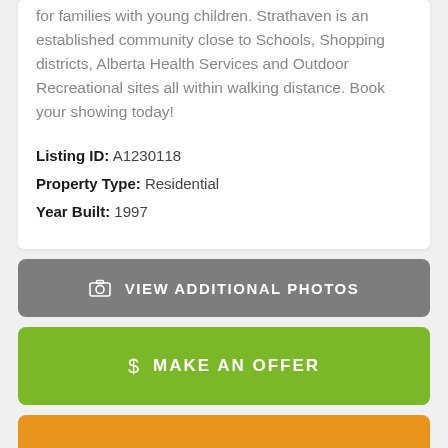for families with young children. Strathaven is an established community close to Schools, Shopping districts, Alberta Health Services and Outdoor Recreational sites all within walking distance. Book your showing today!
Listing ID: A1230118
Property Type: Residential
Year Built: 1997
VIEW ADDITIONAL PHOTOS
MAKE AN OFFER